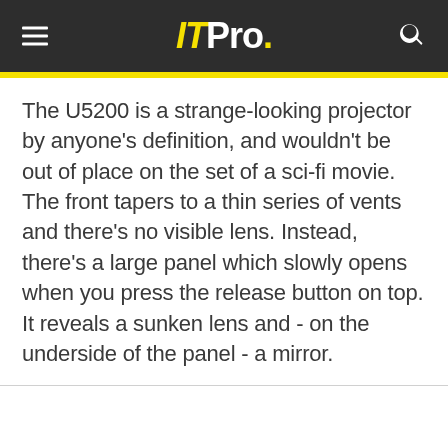ITPro.
The U5200 is a strange-looking projector by anyone's definition, and wouldn't be out of place on the set of a sci-fi movie. The front tapers to a thin series of vents and there's no visible lens. Instead, there's a large panel which slowly opens when you press the release button on top. It reveals a sunken lens and - on the underside of the panel - a mirror.